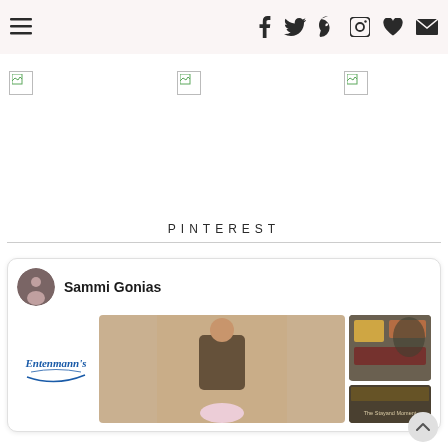Navigation header with menu icon and social icons: Facebook, Twitter, Pinterest, Instagram, heart/favorites, email
[Figure (photo): Three broken/missing image placeholders in a row]
PINTEREST
[Figure (infographic): Pinterest widget card showing Sammi Gonias profile with avatar, Entenmann's logo pin, photo of young girl with unicorn toy, charcuterie/cheese board photo, and partial bottom row pins]